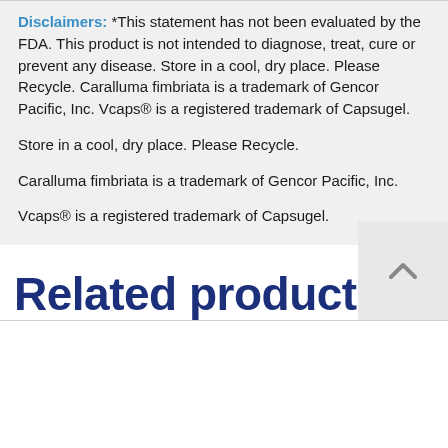Disclaimers: *This statement has not been evaluated by the FDA. This product is not intended to diagnose, treat, cure or prevent any disease. Store in a cool, dry place. Please Recycle. Caralluma fimbriata is a trademark of Gencor Pacific, Inc. Vcaps® is a registered trademark of Capsugel.
Store in a cool, dry place. Please Recycle.
Caralluma fimbriata is a trademark of Gencor Pacific, Inc.
Vcaps® is a registered trademark of Capsugel.
Related products